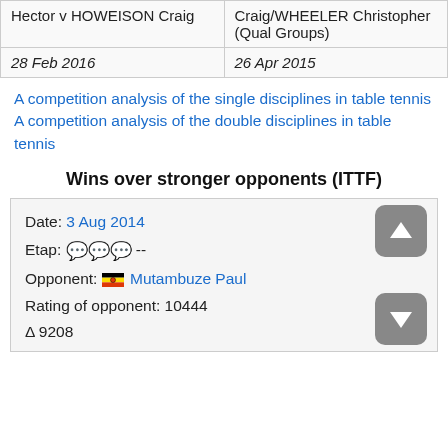|  |  |
| --- | --- |
| Hector v HOWEISON Craig | Craig/WHEELER Christopher (Qual Groups) |
| 28 Feb 2016 | 26 Apr 2015 |
A competition analysis of the single disciplines in table tennis
A competition analysis of the double disciplines in table tennis
Wins over stronger opponents (ITTF)
Date: 3 Aug 2014
Etap: 🗨🗨🗨 --
Opponent: 🇺🇬 Mutambuze Paul
Rating of opponent: 10444
Δ 9208